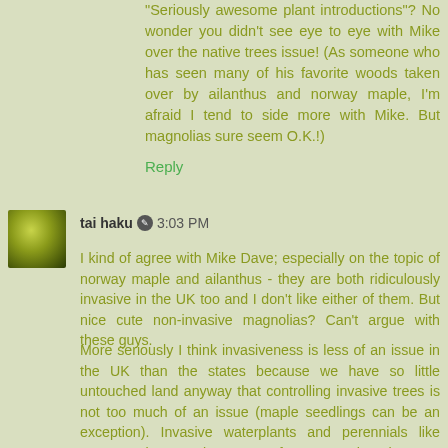"Seriously awesome plant introductions"? No wonder you didn't see eye to eye with Mike over the native trees issue! (As someone who has seen many of his favorite woods taken over by ailanthus and norway maple, I'm afraid I tend to side more with Mike. But magnolias sure seem O.K.!)
Reply
tai haku  3:03 PM
I kind of agree with Mike Dave; especially on the topic of norway maple and ailanthus - they are both ridiculously invasive in the UK too and I don't like either of them. But nice cute non-invasive magnolias? Can't argue with these guys.
More seriously I think invasiveness is less of an issue in the UK than the states because we have so little untouched land anyway that controlling invasive trees is not too much of an issue (maple seedlings can be an exception). Invasive waterplants and perennials like Japanese knotweed are more of a concern though.